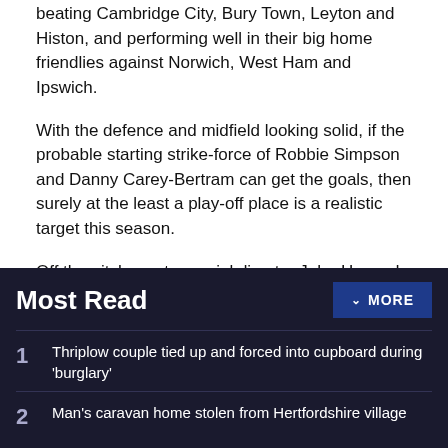beating Cambridge City, Bury Town, Leyton and Histon, and performing well in their big home friendlies against Norwich, West Ham and Ipswich.
With the defence and midfield looking solid, if the probable starting strike-force of Robbie Simpson and Danny Carey-Bertram can get the goals, then surely at the least a play-off place is a realistic target this season.
Off the pitch, controversial director John Howard has resigned from the board.
Most Read
1 Thriplow couple tied up and forced into cupboard during 'burglary'
2 Man's caravan home stolen from Hertfordshire village